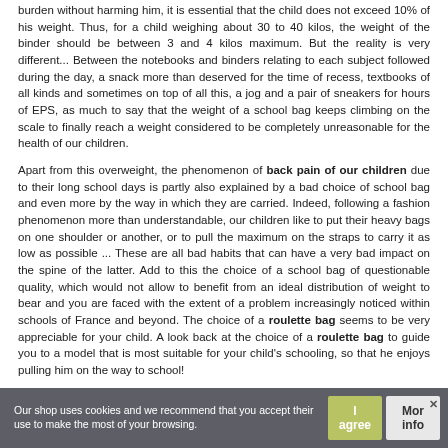burden without harming him, it is essential that the child does not exceed 10% of his weight. Thus, for a child weighing about 30 to 40 kilos, the weight of the binder should be between 3 and 4 kilos maximum. But the reality is very different... Between the notebooks and binders relating to each subject followed during the day, a snack more than deserved for the time of recess, textbooks of all kinds and sometimes on top of all this, a jog and a pair of sneakers for hours of EPS, as much to say that the weight of a school bag keeps climbing on the scale to finally reach a weight considered to be completely unreasonable for the health of our children.
Apart from this overweight, the phenomenon of back pain of our children due to their long school days is partly also explained by a bad choice of school bag and even more by the way in which they are carried. Indeed, following a fashion phenomenon more than understandable, our children like to put their heavy bags on one shoulder or another, or to pull the maximum on the straps to carry it as low as possible ... These are all bad habits that can have a very bad impact on the spine of the latter. Add to this the choice of a school bag of questionable quality, which would not allow to benefit from an ideal distribution of weight to bear and you are faced with the extent of a problem increasingly noticed within schools of France and beyond. The choice of a roulette bag seems to be very appreciable for your child. A look back at the choice of a roulette bag to guide you to a model that is most suitable for your child's schooling, so that he enjoys pulling him on the way to school!
Our shop uses cookies and we recommend that you accept their use to make the most of your browsing.